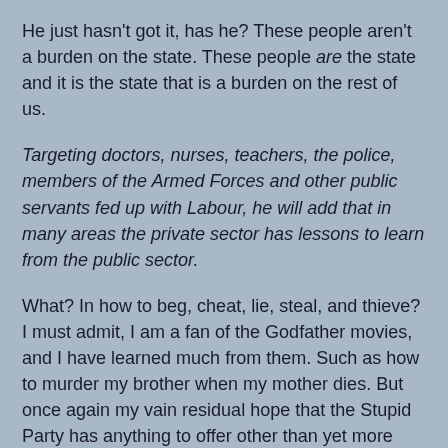He just hasn't got it, has he? These people aren't a burden on the state. These people are the state and it is the state that is a burden on the rest of us.
Targeting doctors, nurses, teachers, the police, members of the Armed Forces and other public servants fed up with Labour, he will add that in many areas the private sector has lessons to learn from the public sector.
What? In how to beg, cheat, lie, steal, and thieve? I must admit, I am a fan of the Godfather movies, and I have learned much from them. Such as how to murder my brother when my mother dies. But once again my vain residual hope that the Stupid Party has anything to offer other than yet more crass theft and duplicity, has simply evaporated.
Democracy really is a God that has failed.
It would seem the only difference between the Stupid Party and New Labour is one of managerial competence. They both propose the same statist plan of continuing to steal our